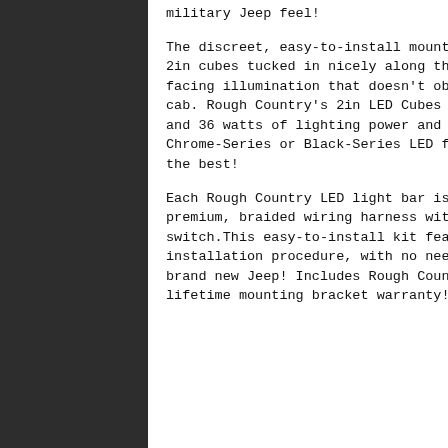military Jeep feel!
The discreet, easy-to-install mounting system allows you to keep the 2in cubes tucked in nicely along the front-end for optimum, forward-facing illumination that doesn't obscure visibility from inside the cab. Rough Country's 2in LED Cubes feature an impressive 2,880 lumens and 36 watts of lighting power and is available in your choice of Chrome-Series or Black-Series LED for the style that suits your build the best!
Each Rough Country LED light bar is IP67 Waterproof and includes a premium, braided wiring harness with in-line fuse and on/off switch.This easy-to-install kit features a 100 percent bolt-on installation procedure, with no need for cutting or drilling on your brand new Jeep! Includes Rough Country's 3-year LED warranty and lifetime mounting bracket warranty!